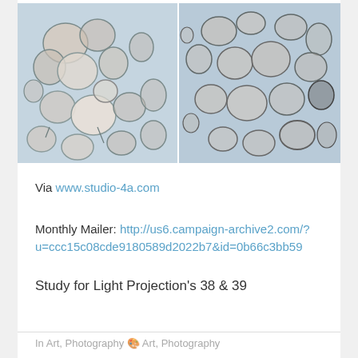[Figure (photo): Two side-by-side abstract artwork images showing organic bubble/cell-like shapes in blue-grey tones — studies for light projections 38 and 39]
Via www.studio-4a.com
Monthly Mailer: http://us6.campaign-archive2.com/?u=ccc15c08cde9180589d2022b7&id=0b66c3bb59
Study for Light Projection's 38 & 39
In Art, Photography 🎨 Art, Photography